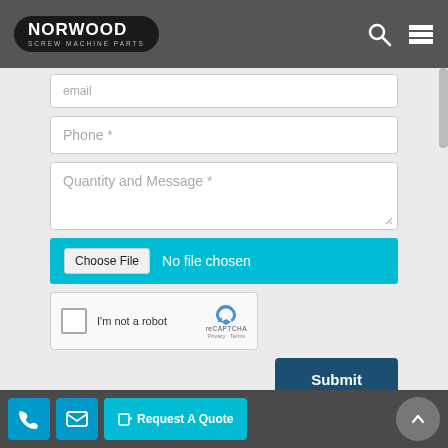[Figure (logo): Norwood Screw Machine Parts logo — white text on black oval]
Phone *
Quantity and Message *
Choose File  No file chosen
[Figure (screenshot): reCAPTCHA widget with checkbox 'I'm not a robot']
Submit
"*" symbols for mandatory fields
Request A Quote